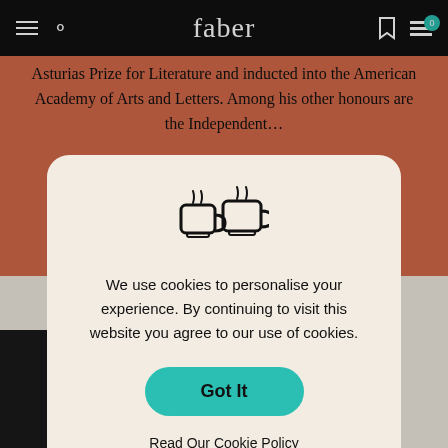faber
Asturias Prize for Literature and inducted into the American Academy of Arts and Letters. Among his other honours are the Independent…
Read More
[Figure (illustration): Cookie consent modal with a tea/coffee cup icon, cookie message, 'Got It' button, and 'Read Our Cookie Policy' link on a beige rounded rectangle]
We use cookies to personalise your experience. By continuing to visit this website you agree to our use of cookies.
Got It
Read Our Cookie Policy